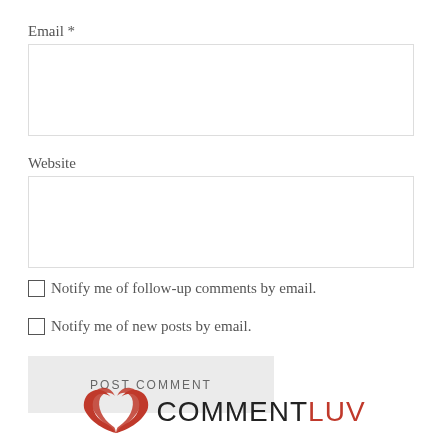Email *
[Figure (other): Empty email input text field]
Website
[Figure (other): Empty website input text field]
Notify me of follow-up comments by email.
Notify me of new posts by email.
[Figure (other): POST COMMENT button]
[Figure (logo): CommentLuv logo with red wings and text]